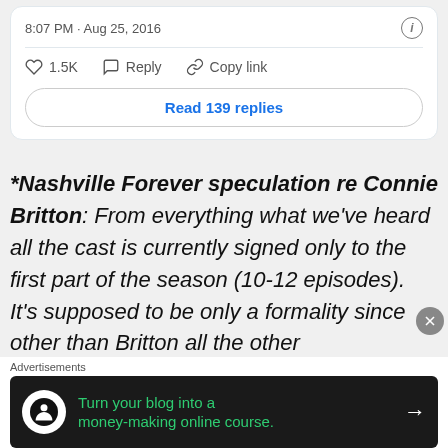8:07 PM · Aug 25, 2016
1.5K   Reply   Copy link
Read 139 replies
*Nashville Forever speculation re Connie Britton: From everything what we've heard all the cast is currently signed only to the first part of the season (10-12 episodes). It's supposed to be only a formality since other than Britton all the other
Advertisements
[Figure (screenshot): Advertisement banner: dark background with Teachable logo, text 'Turn your blog into a money-making online course.' with arrow]